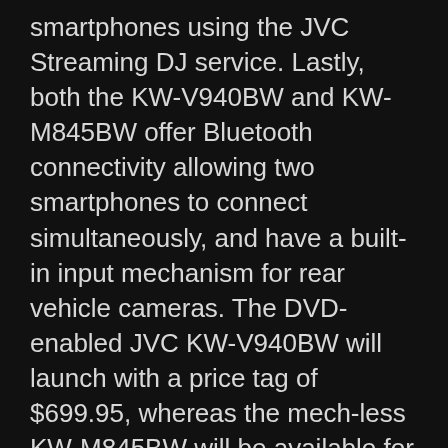smartphones using the JVC Streaming DJ service. Lastly, both the KW-V940BW and KW-M845BW offer Bluetooth connectivity allowing two smartphones to connect simultaneously, and have a built-in input mechanism for rear vehicle cameras. The DVD-enabled JVC KW-V940BW will launch with a price tag of $699.95, whereas the mech-less KW-M845BW will be available for $599.95.
Meanwhile, Kenwood is launching three new solutions with prices ranging from $850 to $1,500. The top of the range is the DX995S featuring DVD playback and a 6.8-inch display, along with on-board navigation provided by Garmin. There’s also the DDX9905 which offers the same characteristics sans navigation and will retail for $1,100. Lastly, the $850 DMX905S is a mech-less alternative without